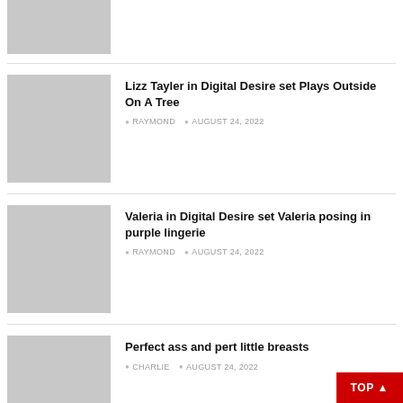[Figure (photo): Gray placeholder thumbnail image, partially visible at top]
Lizz Tayler in Digital Desire set Plays Outside On A Tree
RAYMOND  AUGUST 24, 2022
Valeria in Digital Desire set Valeria posing in purple lingerie
RAYMOND  AUGUST 24, 2022
Perfect ass and pert little breasts
CHARLIE  AUGUST 24, 2022